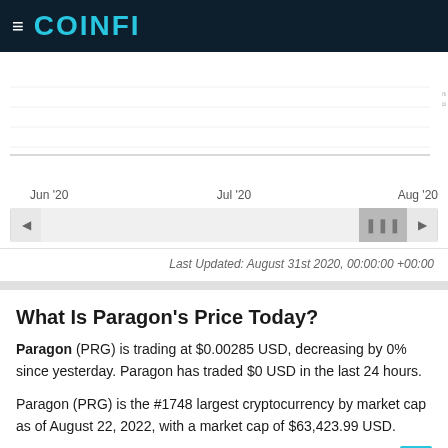COINFI
[Figure (continuous-plot): Price chart showing Paragon (PRG) price over time with x-axis labels Jun '20, Jul '20, Aug '20 and a scrollbar navigation below]
Last Updated: August 31st 2020, 00:00:00 +00:00
What Is Paragon's Price Today?
Paragon (PRG) is trading at $0.00285 USD, decreasing by 0% since yesterday. Paragon has traded $0 USD in the last 24 hours.
Paragon (PRG) is the #1748 largest cryptocurrency by market cap as of August 22, 2022, with a market cap of $63,423.99 USD.
How Much Did Paragon Raise?
The Paragon ICO (initial coin offering) raised $50,000,000 USD by